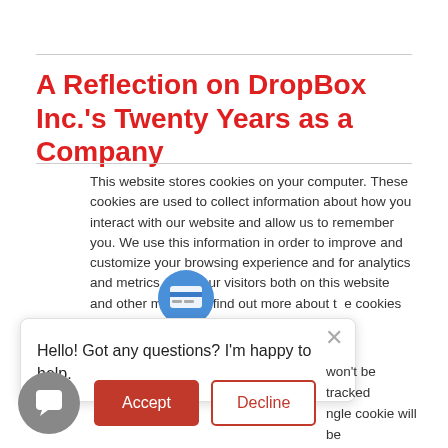A Reflection on DropBox Inc.'s Twenty Years as a Company
This website stores cookies on your computer. These cookies are used to collect information about how you interact with our website and allow us to remember you. We use this information in order to improve and customize your browsing experience and for analytics and metrics about our visitors both on this website and other media. To find out more about the cookies we use, see our Privacy Policy
Hello! Got any questions? I'm happy to help.
won't be tracked ngle cookie will be er your preference